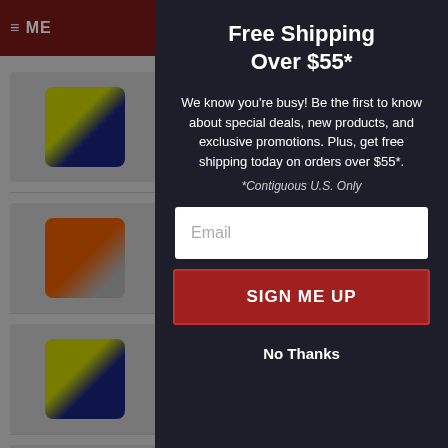≡ ME
Free Shipping Over $55*
We know you're busy! Be the first to know about special deals, new products, and exclusive promotions. Plus, get free shipping today on orders over $55*.
*Contiguous U.S. Only
Email
SIGN ME UP
No Thanks